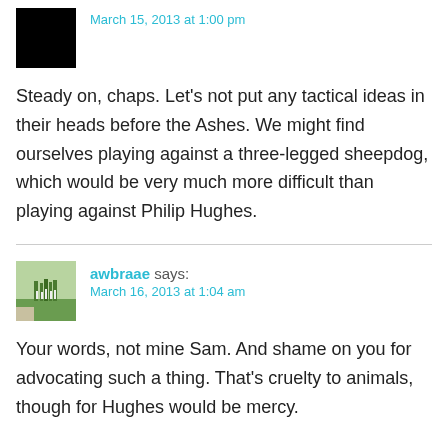[Figure (photo): Black square avatar image for first commenter]
March 15, 2013 at 1:00 pm
Steady on, chaps. Let's not put any tactical ideas in their heads before the Ashes. We might find ourselves playing against a three-legged sheepdog, which would be very much more difficult than playing against Philip Hughes.
[Figure (photo): Photo of cricket players on a green field, avatar for awbraae]
awbraae says:
March 16, 2013 at 1:04 am
Your words, not mine Sam. And shame on you for advocating such a thing. That's cruelty to animals, though for Hughes would be mercy.